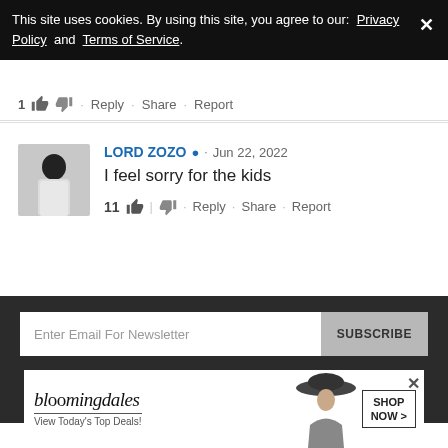This site uses cookies. By using this site, you agree to our: Privacy Policy and Terms of Service.
1 · Reply · Share · Report
LORD ZOZO · Jun 22, 2022
I feel sorry for the kids
11 · Reply · Share · Report
Enter Email For Newsletter  SUBSCRIBE
Advertise   Privacy   Contact   TOS
Copyright © 2021 Urbanlinx Media
[Figure (screenshot): Bloomingdale's advertisement: 'View Today's Top Deals!' with shop now button and woman in hat image]